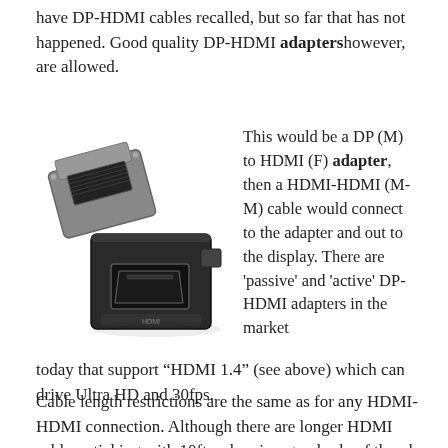have DP-HDMI cables recalled, but so far that has not happened. Good quality DP-HDMI adapters however, are allowed.
[Figure (photo): Photo of DP to HDMI adapters: a small black rectangular adapter with an HDMI female port visible, and another adapter piece in the background.]
This would be a DP (M) to HDMI (F) adapter, then a HDMI-HDMI (M-M) cable would connect to the adapter and out to the display. There are 'passive' and 'active' DP-HDMI adapters in the market today that support "HDMI 1.4" (see above) which can drive Ultra HD and 30fps.
Cable length restrictions are the same as for any HDMI-HDMI connection. Although there are longer HDMI cables, sticking with 10ft or less is a good rule of thumb if you play on using Ultra HD resolutions.